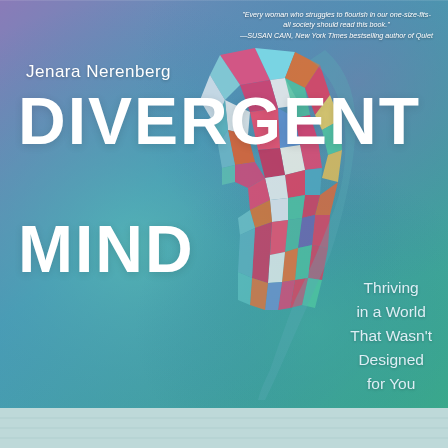[Figure (illustration): Book cover of 'Divergent Mind' by Jenara Nerenberg. Background is a soft blue-green and purple gradient. Center features a colorful low-poly geometric illustration of a woman's face in profile made of triangular facets in teal, magenta, red, orange, white and blue. Text overlays show author name, title, and subtitle.]
"Every woman who struggles to flourish in our one-size-fits-all society should read this book." —SUSAN CAIN, New York Times bestselling author of Quiet
Jenara Nerenberg
DIVERGENT MIND
Thriving in a World That Wasn't Designed for You